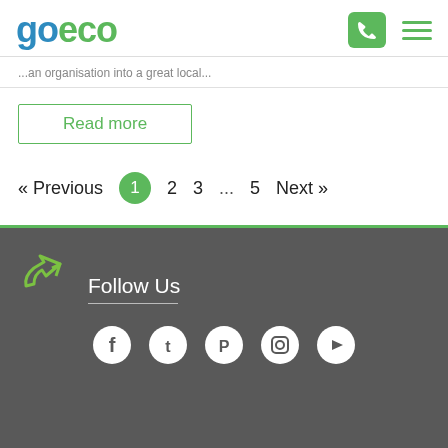goeco [logo with phone and menu icons]
...an organisation into a great local...
Read more
« Previous  1  2  3  ...  5  Next »
Follow Us
[Figure (illustration): Social media icons: Facebook, Twitter, Pinterest, Instagram, YouTube]